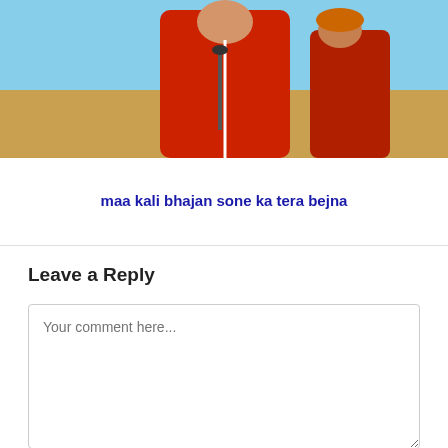[Figure (photo): A person dressed in red traditional/cultural clothing performing or speaking into a microphone, with a blue sky and decorative background.]
maa kali bhajan sone ka tera bejna
Leave a Reply
Your comment here...
Name (required)